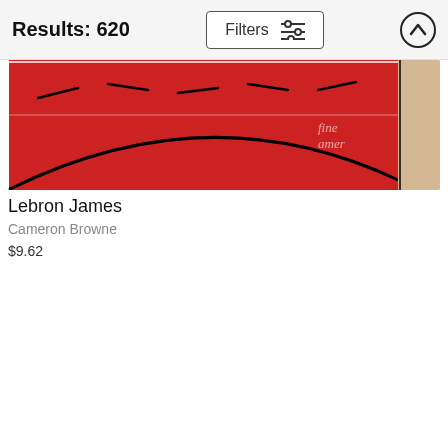Results: 620
[Figure (photo): Partial basketball court image with red painted area and court markings, watermarked with 'fine art america']
Lebron James
Cameron Browne
$9.62